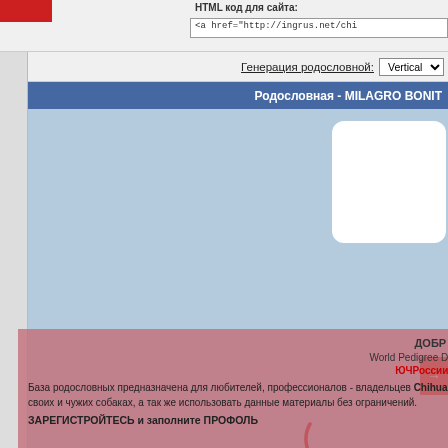HTML код для сайта:
<a href="http://ingrus.net/chi
Генерация родословной: Vertical
Родословная - MILAGRO BONIT...
[Figure (other): Pedigree tree diagram showing dog ancestry. Contains white rounded cards for dog entries, a red loading arc/spinner, and partially loaded content. Female symbol with MILAGRO BONITA ARIE... (Cream 2021 Longed-H...) visible. Vertical connector line present.]
♀ MILAGRO BONITA ARIE...
Cream 2021 Longed-H...
♂ SHAN SAIN NEAPOL'
Cream & White 2019 Longed-Haired
ЮЧРоссии, ЮЧРФСС, ЛЮ, BOS
ДОБР... World Pedigree Dat... 2019 ...
База родословных предназначена для любителей, профессионалов - владельцев Chihuahua по всему миру, каждый желающий может внести свой вклад и оставить информацию о своих и чужих собаках, а так же использовать данные материалы без ограничений.
ЗАРЕГИСТРИРУЙТЕСЬ и заполните ПРОФОЛЬ